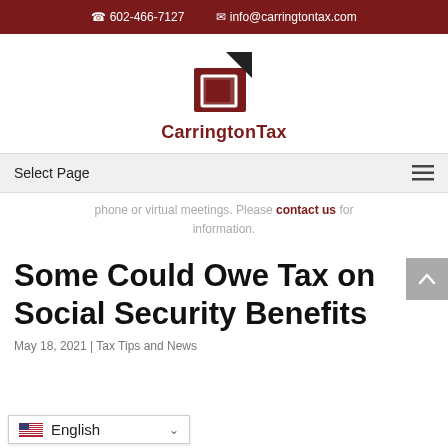602-466-7127   info@carringtontax.com
[Figure (logo): CarringtonTax logo: a stylized house/square icon in dark red and black, with text 'CarringtonTax' below in dark red bold font.]
Select Page
phone or virtual meetings. Please contact us for information.
Some Could Owe Tax on Social Security Benefits
May 18, 2021 | Tax Tips and News